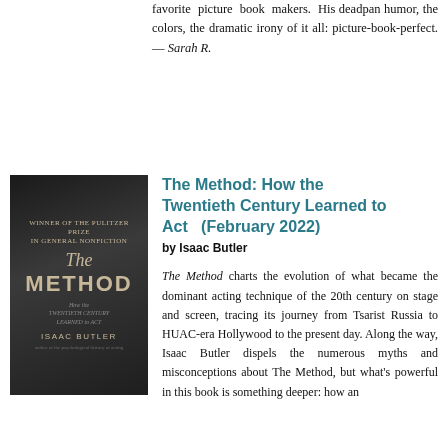favorite picture book makers. His deadpan humor, the colors, the dramatic irony of it all: picture-book-perfect. — Sarah R.
[Figure (photo): Book cover for 'The Method: How the Twentieth Century Learned to Act' by Isaac Butler. Dark monochromatic cover with two figures at a table.]
The Method: How the Twentieth Century Learned to Act (February 2022)
by Isaac Butler
The Method charts the evolution of what became the dominant acting technique of the 20th century on stage and screen, tracing its journey from Tsarist Russia to HUAC-era Hollywood to the present day. Along the way, Isaac Butler dispels the numerous myths and misconceptions about The Method, but what's powerful in this book is something deeper: how an